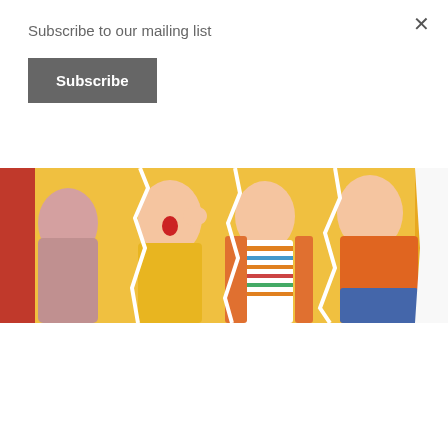Subscribe to our mailing list
Subscribe
×
[Figure (photo): Banner image showing three young women in colorful outfits against a bright background — promotional image for Never Have I Ever TV series]
MOVIES   WEB SERIES
Never Have I Ever
Nushrat Ferdous • January 31, 2021
Series: Never Have I Ever (2020) Genre: Teen, Comedy, Drama Season: 1,– Episodes: 10 Country: USA Storyline: Devi Vishwakumar, a teenager of Indian descended has ended her high school freshmen year in an unsatisfactory